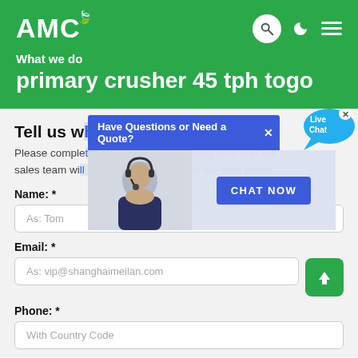AMC
What we do
primary crusher 45 tph togo
Tell us what you are looking for?
Please complete and submit the following form and our sales team will contact you shortly with our best prices.
[Figure (screenshot): Live chat popup overlay with blue bar reading 'Have Questions or Need a Quote?', a customer service representative photo, and a 'CHAT NOW' button. A 'Live Chat' speech bubble is also visible.]
Name: *
As: Tom
Email: *
As: vip@shanghaimeilan.com
Phone: *
With Country Code